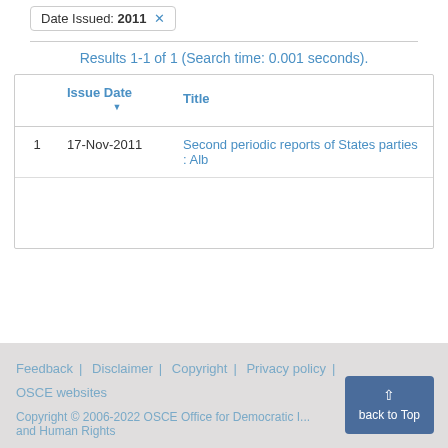Date Issued: 2011 ×
Results 1-1 of 1 (Search time: 0.001 seconds).
|  | Issue Date ▾ | Title |
| --- | --- | --- |
| 1 | 17-Nov-2011 | Second periodic reports of States parties : Alb |
Feedback | Disclaimer | Copyright | Privacy policy | OSCE websites
Copyright © 2006-2022 OSCE Office for Democratic I... and Human Rights